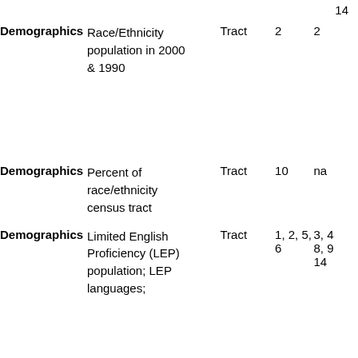14
| Category | Description | Level | Col4 | Col5 |
| --- | --- | --- | --- | --- |
| Demographics | Race/Ethnicity population in 2000 & 1990 | Tract | 2 | 2 |
| Demographics | Percent of race/ethnicity census tract | Tract | 10 | na |
| Demographics | Limited English Proficiency (LEP) population; LEP languages; | Tract | 1, 2, 6 | 5,3, 4 8, 9 14 |